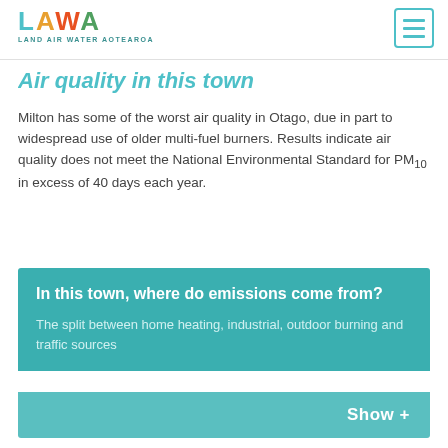LAWA LAND AIR WATER AOTEAROA
Air quality in this town
Milton has some of the worst air quality in Otago, due in part to widespread use of older multi-fuel burners. Results indicate air quality does not meet the National Environmental Standard for PM10 in excess of 40 days each year.
In this town, where do emissions come from?
The split between home heating, industrial, outdoor burning and traffic sources
Show +